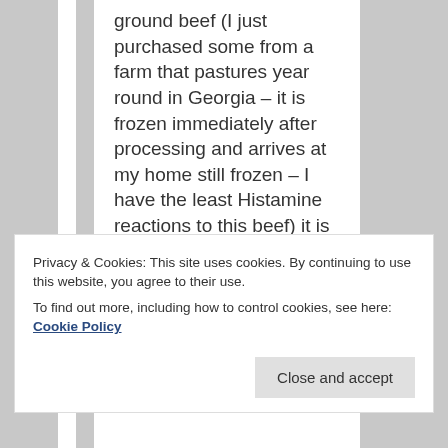ground beef (I just purchased some from a farm that pastures year round in Georgia – it is frozen immediately after processing and arrives at my home still frozen – I have the least Histamine reactions to this beef) it is 80/20. Does that mean I do not have to add fat? That means I would have to eat a lot more of the beef to get enough calories. That really
Privacy & Cookies: This site uses cookies. By continuing to use this website, you agree to their use.
To find out more, including how to control cookies, see here: Cookie Policy